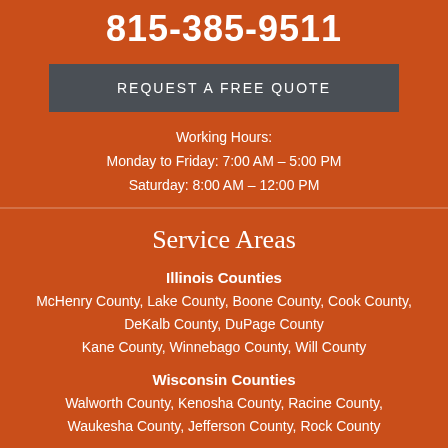815-385-9511
REQUEST A FREE QUOTE
Working Hours:
Monday to Friday: 7:00 AM – 5:00 PM
Saturday: 8:00 AM – 12:00 PM
Service Areas
Illinois Counties
McHenry County, Lake County, Boone County, Cook County, DeKalb County, DuPage County
Kane County, Winnebago County, Will County
Wisconsin Counties
Walworth County, Kenosha County, Racine County, Waukesha County, Jefferson County, Rock County
[Figure (illustration): Light blue upward pointing arrow at the bottom of the page]